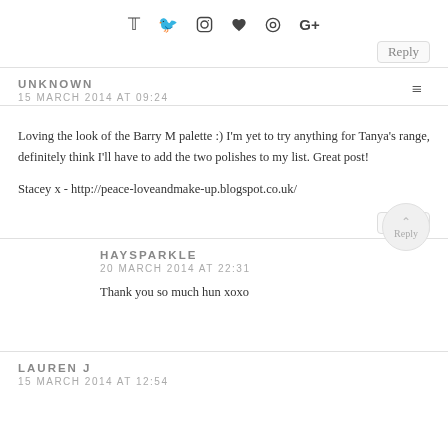♥ [social icons: twitter, instagram, heart, pinterest, google+]
Reply
UNKNOWN
15 MARCH 2014 AT 09:24
Loving the look of the Barry M palette :) I'm yet to try anything for Tanya's range, definitely think I'll have to add the two polishes to my list. Great post!

Stacey x - http://peace-loveandmake-up.blogspot.co.uk/
Reply
HAYSPARKLE
20 MARCH 2014 AT 22:31
Thank you so much hun xoxo
Reply
LAUREN J
15 MARCH 2014 AT 12:54